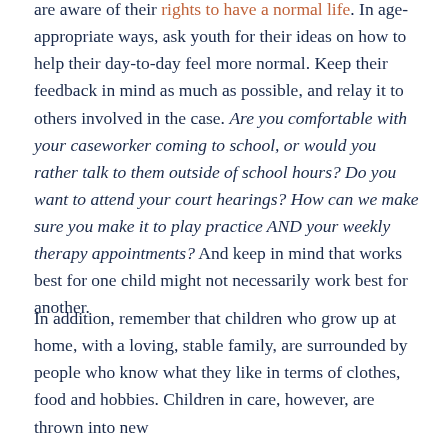are aware of their rights to have a normal life. In age-appropriate ways, ask youth for their ideas on how to help their day-to-day feel more normal. Keep their feedback in mind as much as possible, and relay it to others involved in the case. Are you comfortable with your caseworker coming to school, or would you rather talk to them outside of school hours? Do you want to attend your court hearings? How can we make sure you make it to play practice AND your weekly therapy appointments? And keep in mind that works best for one child might not necessarily work best for another.
In addition, remember that children who grow up at home, with a loving, stable family, are surrounded by people who know what they like in terms of clothes, food and hobbies. Children in care, however, are thrown into new…